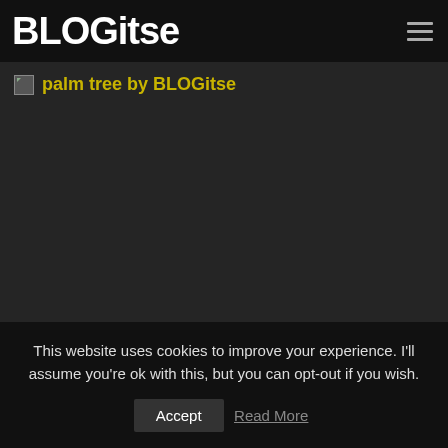BLOGitse
palm tree by BLOGitse
[Figure (photo): Broken image placeholder for a palm tree photo, dark background area]
This website uses cookies to improve your experience. I'll assume you're ok with this, but you can opt-out if you wish.
Accept   Read More